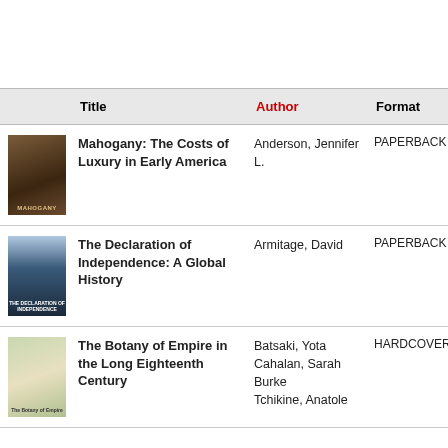|  | Title | Author | Format |
| --- | --- | --- | --- |
| [image] | Mahogany: The Costs of Luxury in Early America | Anderson, Jennifer L. | PAPERBACK |
| [image] | The Declaration of Independence: A Global History | Armitage, David | PAPERBACK |
| [image] | The Botany of Empire in the Long Eighteenth Century | Batsaki, Yota Cahalan, Sarah Burke Tchikine, Anatole | HARDCOVER |